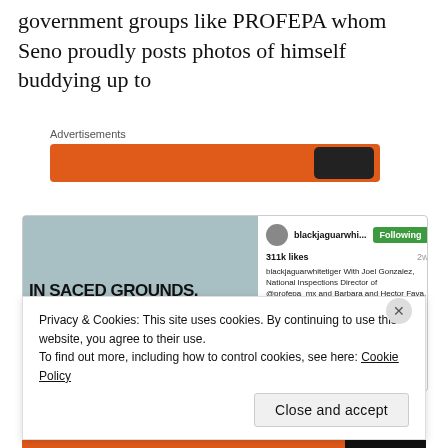government groups like PROFEPA whom Seno proudly posts photos of himself buddying up to
Advertisements
[Figure (screenshot): Instagram post screenshot showing a photo of people in front of a banner reading 'IN SACRED GROUNDS, BRAVE AC / N TIERRA SAGRADA COMSTATE A', with Instagram sidebar showing account 'blackjaguarwhi...' with Following button, 311k likes, 2w, and caption mentioning Joel Gonzalez, National Inspections Director of @profepa_mx and Barbara and Hector Fava.]
Privacy & Cookies: This site uses cookies. By continuing to use this website, you agree to their use.
To find out more, including how to control cookies, see here: Cookie Policy
Close and accept